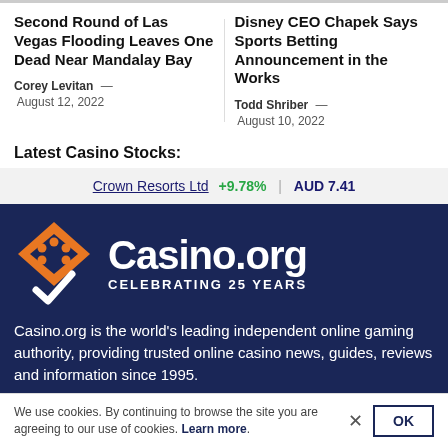Second Round of Las Vegas Flooding Leaves One Dead Near Mandalay Bay
Corey Levitan — August 12, 2022
Disney CEO Chapek Says Sports Betting Announcement in the Works
Todd Shriber — August 10, 2022
Latest Casino Stocks:
Crown Resorts Ltd +9.78% | AUD 7.41
[Figure (logo): Casino.org logo with orange diamond/house shape and white checkmark, white text reading Casino.org, subtext CELEBRATING 25 YEARS, on dark navy background]
Casino.org is the world's leading independent online gaming authority, providing trusted online casino news, guides, reviews and information since 1995.
We use cookies. By continuing to browse the site you are agreeing to our use of cookies. Learn more.